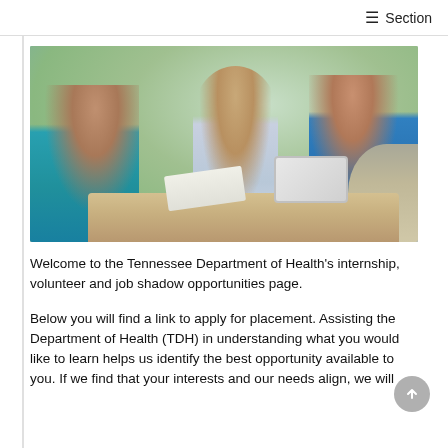☰ Section
[Figure (photo): Group of diverse professionals sitting around a meeting table, smiling and engaged in discussion. Central figure is a young man in a light blue shirt holding papers; a woman with red hair holds a tablet on the right; a woman in teal on the left. Bright, office meeting room setting.]
Welcome to the Tennessee Department of Health's internship, volunteer and job shadow opportunities page.
Below you will find a link to apply for placement. Assisting the Department of Health (TDH) in understanding what you would like to learn helps us identify the best opportunity available to you. If we find that your interests and our needs align, we will